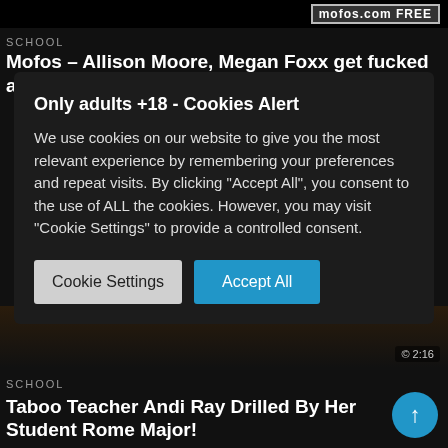[Figure (screenshot): Top portion of a dark-themed adult video website showing a video thumbnail with a mofos.com logo watermark in the top right]
SCHOOL
Mofos – Allison Moore, Megan Foxx get fucked at the christmass party
Only adults +18 - Cookies Alert
We use cookies on our website to give you the most relevant experience by remembering your preferences and repeat visits. By clicking "Accept All", you consent to the use of ALL the cookies. However, you may visit "Cookie Settings" to provide a controlled consent.
Cookie Settings
Accept All
[Figure (screenshot): Bottom portion of dark-themed adult website showing a video thumbnail]
SCHOOL
Taboo Teacher Andi Ray Drilled By Her Student Rome Major!